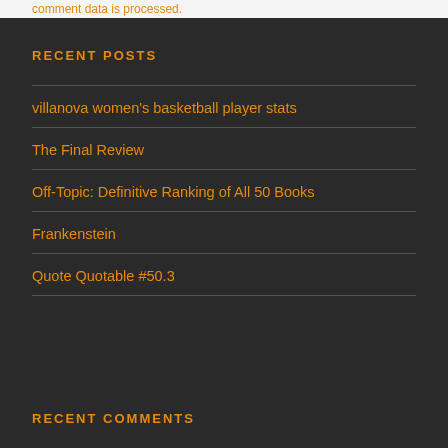comment data is processed.
RECENT POSTS
villanova women's basketball player stats
The Final Review
Off-Topic: Definitive Ranking of All 50 Books
Frankenstein
Quote Quotable #50.3
RECENT COMMENTS